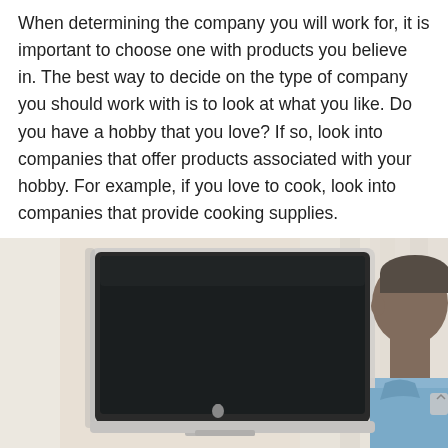When determining the company you will work for, it is important to choose one with products you believe in. The best way to decide on the type of company you should work with is to look at what you like. Do you have a hobby that you love? If so, look into companies that offer products associated with your hobby. For example, if you love to cook, look into companies that provide cooking supplies.
[Figure (photo): A person (side profile, dark-skinned male) looking at an Apple iMac computer screen. The monitor screen is dark/off. The scene has a light background with white curtains visible. The person is wearing a light blue shirt.]